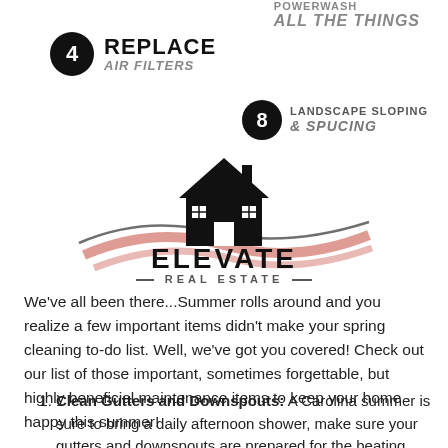[Figure (infographic): Numbered home maintenance items: item 4 REPLACE AIR FILTERS, item 7 POWERWASH ALL THE THINGS (partially visible at top), item 8 LANDSCAPE SLOPING & SPUCING, with black circle number badges]
[Figure (logo): Elevate Real Estate logo: house icon with swooping red and dark curves, bold text ELEVATE and smaller text REAL ESTATE with decorative dashes]
We've all been there...Summer rolls around and you realize a few important items didn't make your spring cleaning to-do list. Well, we've got you covered! Check out our list of those important, sometimes forgettable, but highly beneficial maintenance items to keep your home happy this summer!
Clean Gutters and Downspouts: A Carolina summer is sure to bring a daily afternoon shower, make sure your gutters and downspouts are prepared for the beating. This will also help keep your mulch and flower beds nice and tidy, but if something like nothing, it comes and...